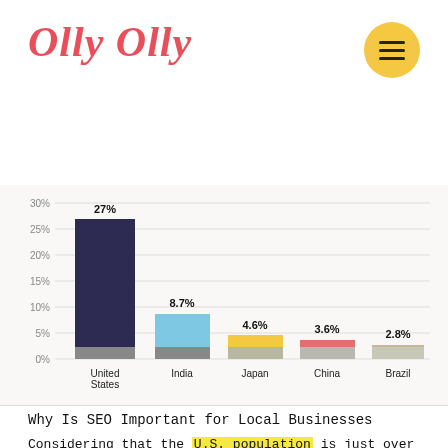Olly Olly
[Figure (bar-chart): ]
Why Is SEO Important for Local Businesses
Considering that the U.S. population is just over 331 million people, there are approximately 3.1 users per person navigating Google who can potentially access